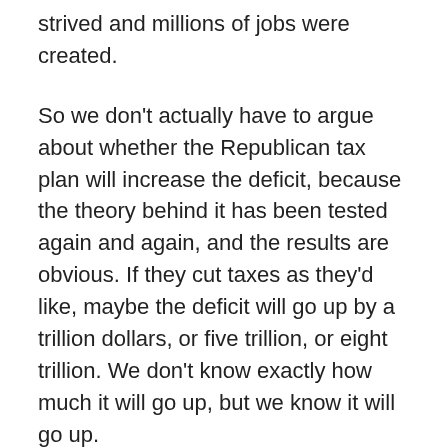strived and millions of jobs were created.
So we don't actually have to argue about whether the Republican tax plan will increase the deficit, because the theory behind it has been tested again and again, and the results are obvious. If they cut taxes as they'd like, maybe the deficit will go up by a trillion dollars, or five trillion, or eight trillion. We don't know exactly how much it will go up, but we know it will go up.
As far as Republicans are concerned, dramatic increases in the deficit are a reasonable price to pay to obtain the moral good of tax cuts. If you think I'm being unfair, ask them whether they believe Bush's tax cuts were a mistake. They don't.
You can agree or disagree. But you don't have to wonder what will happen if a Republican is elected. There may be